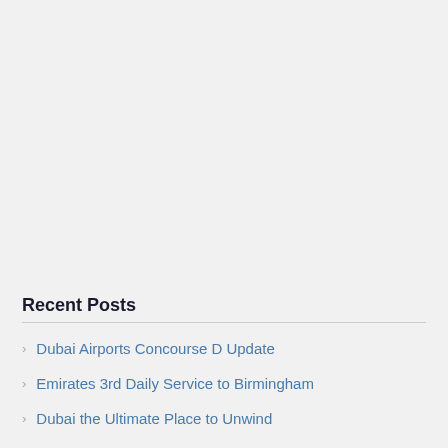Recent Posts
Dubai Airports Concourse D Update
Emirates 3rd Daily Service to Birmingham
Dubai the Ultimate Place to Unwind